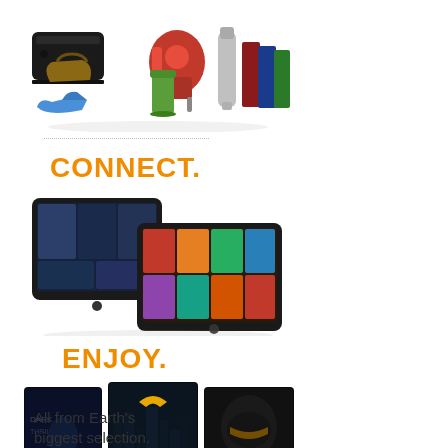[Figure (photo): Various products including a gaming console, kitchen mixer, handbag, shoes, blender cup, water bottle, and books arranged together]
CONNECT.
[Figure (photo): Two tablet devices (Kindle Fire tablets) displaying media content]
ENJOY.
[Figure (photo): Movie/entertainment media covers including dark thriller film covers]
All from Earth's biggest selection.